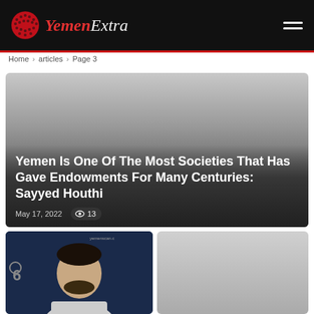Yemen Extra
Home > articles > Page 3
[Figure (photo): Article card with gradient overlay showing article title and metadata on dark background]
Yemen Is One Of The Most Societies That Has Gave Endowments For Many Centuries: Sayyed Houthi
May 17, 2022   👁 13
[Figure (photo): Photo of a man in a suit against a blue background with logo, and a second gray placeholder image]